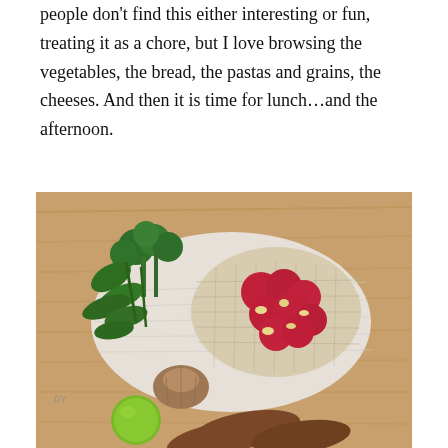people don't find this either interesting or fun, treating it as a chore, but I love browsing the vegetables, the bread, the pastas and grains, the cheeses. And then it is time for lunch…and the afternoon.
[Figure (photo): Overhead photo of fresh vegetables and produce on a wooden surface: broccoli, leafy greens, radishes in a mesh net bag placed on a white waffle-weave cloth, along with a shallot, a lime, and sweet potatoes.]